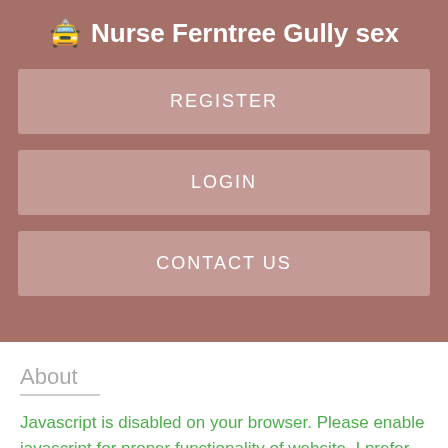🚖 Nurse Ferntree Gully sex
REGISTER
LOGIN
CONTACT US
About
Javascript is disabled on your browser. Please enable javascript for proper functionality of website. I prefer you text message me to booking before coming.
Harriott